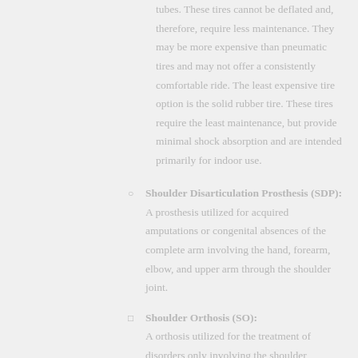tubes. These tires cannot be deflated and, therefore, require less maintenance. They may be more expensive than pneumatic tires and may not offer a consistently comfortable ride. The least expensive tire option is the solid rubber tire. These tires require the least maintenance, but provide minimal shock absorption and are intended primarily for indoor use.
Shoulder Disarticulation Prosthesis (SDP): A prosthesis utilized for acquired amputations or congenital absences of the complete arm involving the hand, forearm, elbow, and upper arm through the shoulder joint.
Shoulder Orthosis (SO): A orthosis utilized for the treatment of disorders only involving the shoulder...